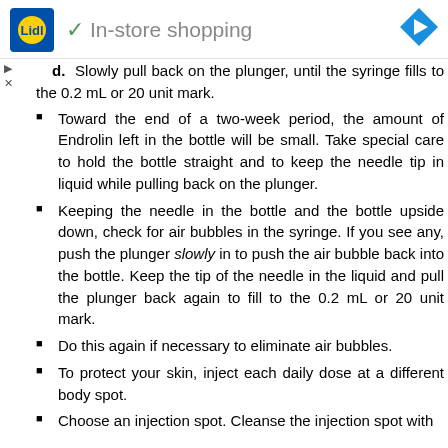Lidl · ✓ In-store shopping
d. Slowly pull back on the plunger, until the syringe fills to the 0.2 mL or 20 unit mark.
Toward the end of a two-week period, the amount of Endrolin left in the bottle will be small. Take special care to hold the bottle straight and to keep the needle tip in liquid while pulling back on the plunger.
Keeping the needle in the bottle and the bottle upside down, check for air bubbles in the syringe. If you see any, push the plunger slowly in to push the air bubble back into the bottle. Keep the tip of the needle in the liquid and pull the plunger back again to fill to the 0.2 mL or 20 unit mark.
Do this again if necessary to eliminate air bubbles.
To protect your skin, inject each daily dose at a different body spot.
Choose an injection spot. Cleanse the injection spot with